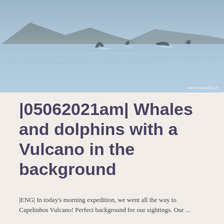[Figure (photo): Ocean scene with whale tails and dolphins visible above the water surface, mountains in the background, blue-grey water. Watermark reads www.naturalist.pt in bottom right corner.]
|05062021am| Whales and dolphins with a Vulcano in the background
|ENG| In today's morning expedition, we went all the way to Capelinhos Vulcano! Perfect background for our sightings. Our ...